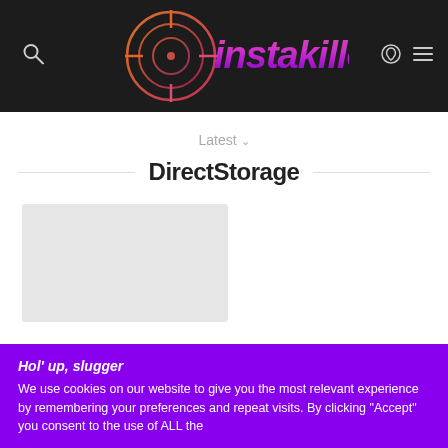[Figure (logo): Instakilled gaming logo with crosshair graphic in orange/red gradient and graffiti-style text in pink/purple gradient on dark background]
Latest ∨
DirectStorage
[Figure (photo): Article thumbnail image placeholder (light gray rectangle)]
Hol' up, slugger
We use cookies on our website to give you the most relevant experience by remembering your preferences and repeat visits. By clicking "Accept" you consent to the use of ALL the